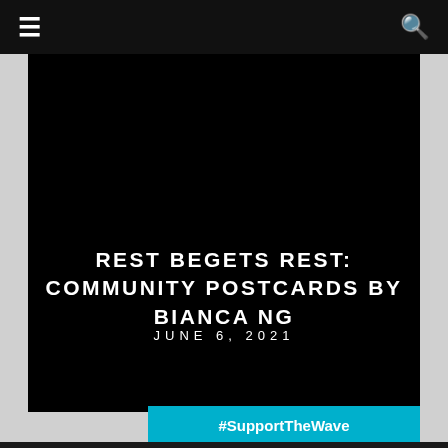≡ (menu icon) | 🔍 (search icon)
REST BEGETS REST: COMMUNITY POSTCARDS BY BIANCA NG
JUNE 6, 2021
#SupportTheWave